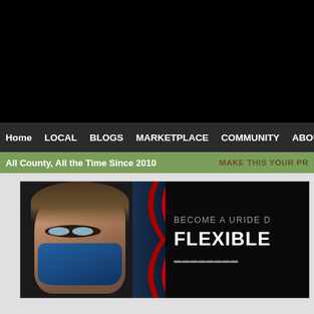Home  LOCAL  BLOGS  MARKETPLACE  COMMUNITY  ABOUT
All County, All the Time Since 2010    MAKE THIS YOUR PR
[Figure (photo): Advertisement banner showing a man wearing a blue mask with a red swoosh graphic and text 'BECOME A URIDE D' and 'FLEXIBLE' on a black background]